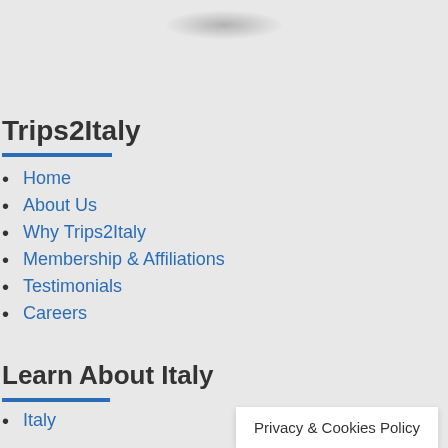Trips2Italy
Home
About Us
Why Trips2Italy
Membership & Affiliations
Testimonials
Careers
Learn About Italy
Italy
Privacy & Cookies Policy